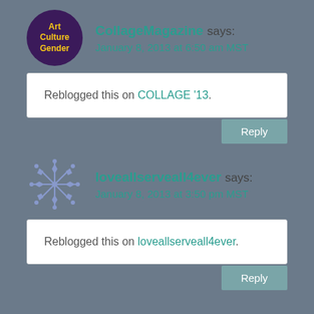[Figure (logo): Circular dark purple avatar with text 'Art Culture Gender' in yellow]
CollageMagazine says: January 8, 2013 at 6:50 am MST
Reblogged this on COLLAGE '13.
Reply
[Figure (logo): Snowflake/asterisk pattern avatar in light purple/blue]
loveallserveall4ever says: January 8, 2013 at 3:50 pm MST
Reblogged this on loveallserveall4ever.
Reply